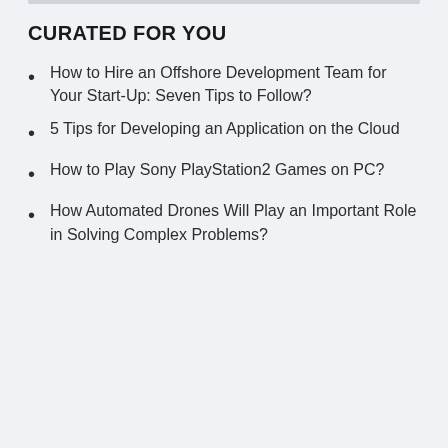CURATED FOR YOU
How to Hire an Offshore Development Team for Your Start-Up: Seven Tips to Follow?
5 Tips for Developing an Application on the Cloud
How to Play Sony PlayStation2 Games on PC?
How Automated Drones Will Play an Important Role in Solving Complex Problems?